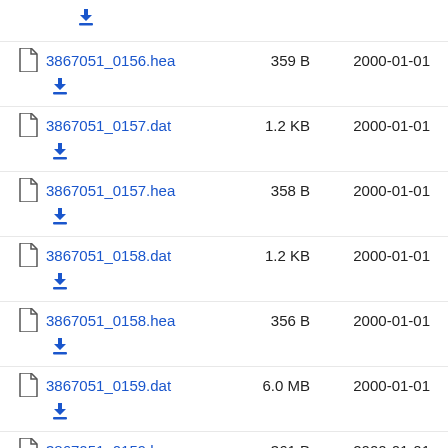3867051_0156.hea  359 B  2000-01-01
3867051_0157.dat  1.2 KB  2000-01-01
3867051_0157.hea  358 B  2000-01-01
3867051_0158.dat  1.2 KB  2000-01-01
3867051_0158.hea  356 B  2000-01-01
3867051_0159.dat  6.0 MB  2000-01-01
3867051_0159.hea  361 B  2000-01-01
3867051_0160.dat